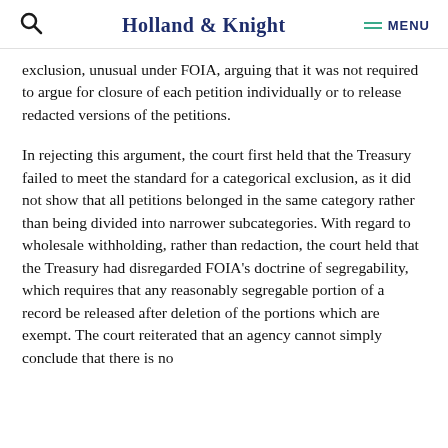Holland & Knight  MENU
exclusion, unusual under FOIA, arguing that it was not required to argue for closure of each petition individually or to release redacted versions of the petitions.
In rejecting this argument, the court first held that the Treasury failed to meet the standard for a categorical exclusion, as it did not show that all petitions belonged in the same category rather than being divided into narrower subcategories. With regard to wholesale withholding, rather than redaction, the court held that the Treasury had disregarded FOIA's doctrine of segregability, which requires that any reasonably segregable portion of a record be released after deletion of the portions which are exempt. The court reiterated that an agency cannot simply conclude that there is no